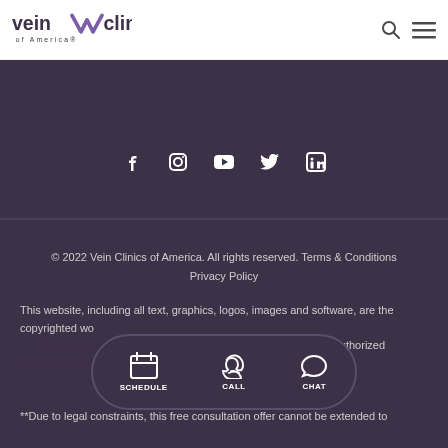[Figure (logo): Vein Clinics of America logo with stylized V and text]
[Figure (illustration): Search and hamburger menu icons in header]
[Figure (illustration): Social media icons row: Facebook, Instagram, YouTube, Twitter, LinkedIn]
© 2022 Vein Clinics of America. All rights reserved. Terms & Conditions Privacy Policy
This website, including all text, graphics, logos, images and software, are the copyrighted works of Vein Clinics of America and its suppliers. Any unauthorized use of the materials contained herein is strictly
[Figure (illustration): Call-to-action bar with Schedule, Call, and Chat buttons]
**Due to legal constraints, this free consultation offer cannot be extended to